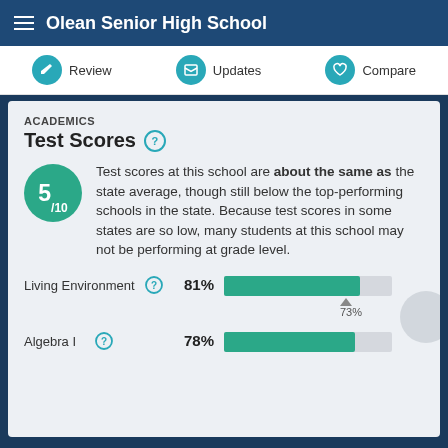Olean Senior High School
[Figure (infographic): Navigation bar with Review, Updates, and Compare buttons with teal circular icons]
ACADEMICS
Test Scores
Test scores at this school are about the same as the state average, though still below the top-performing schools in the state. Because test scores in some states are so low, many students at this school may not be performing at grade level.
[Figure (bar-chart): Horizontal bar chart showing Living Environment 81% and Algebra I 78% with state average marker at 73%]